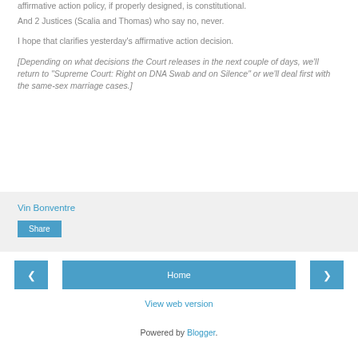affirmative action policy, if properly designed, is constitutional.
And 2 Justices (Scalia and Thomas) who say no, never.
I hope that clarifies yesterday's affirmative action decision.
[Depending on what decisions the Court releases in the next couple of days, we'll return to "Supreme Court: Right on DNA Swab and on Silence" or we'll deal first with the same-sex marriage cases.]
Vin Bonventre
Share
Home
View web version
Powered by Blogger.